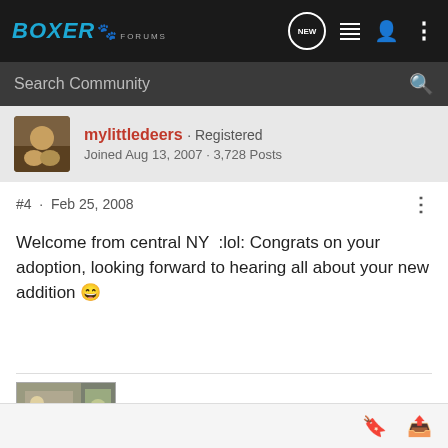Boxer Forums
Search Community
mylittledeers · Registered
Joined Aug 13, 2007 · 3,728 Posts
#4 · Feb 25, 2008
Welcome from central NY  :lol: Congrats on your adoption, looking forward to hearing all about your new addition 😀
[Figure (photo): Two forum post attachment thumbnails showing images]
Bookmark and Share icons